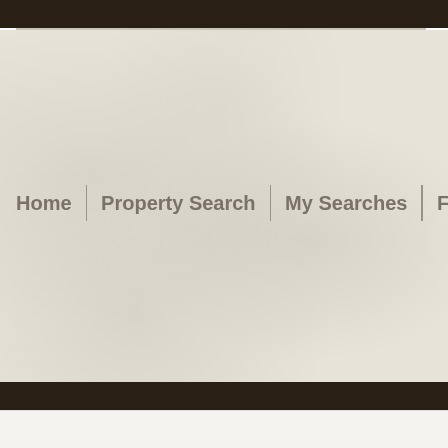[Figure (screenshot): Navigation menu with crumpled paper texture background showing: Home | Property Search | My Searches | Finance Tools]
Home | Property Search | My Searches | Finance Tools
brightmlshomes.com > Virginia > Catlett > 20119